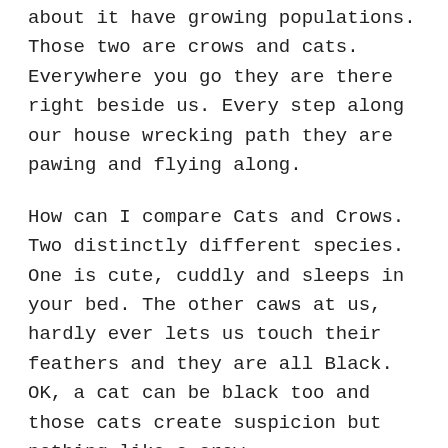about it have growing populations. Those two are crows and cats. Everywhere you go they are there right beside us. Every step along our house wrecking path they are pawing and flying along.
How can I compare Cats and Crows. Two distinctly different species. One is cute, cuddly and sleeps in your bed. The other caws at us, hardly ever lets us touch their feathers and they are all Black. OK, a cat can be black too and those cats create suspicion but nothing like a crow